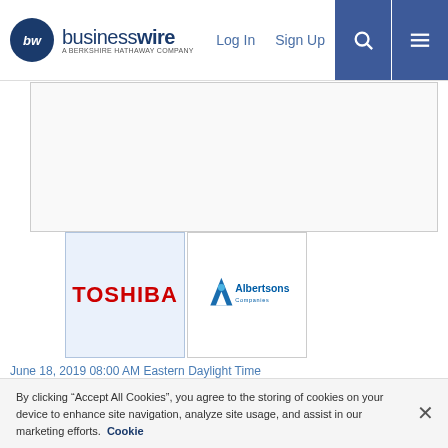businesswire — A Berkshire Hathaway Company | Log In | Sign Up
[Figure (other): Advertisement placeholder box]
[Figure (logo): Toshiba logo (red text on light blue background) and Albertsons Companies logo side by side]
June 18, 2019 08:00 AM Eastern Daylight Time
BOISE, Idaho & RESEARCH TRIANGLE PARK, N.C.--(BUSINESS WIRE)--Albertsons Companies, one of the largest food and drug retailers in the United States, is empowering consumers with fast and convenient in-store checkout experiences by implementing
By clicking “Accept All Cookies”, you agree to the storing of cookies on your device to enhance site navigation, analyze site usage, and assist in our marketing efforts.  Cookie